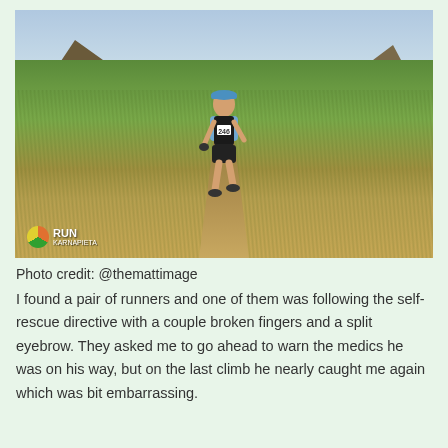[Figure (photo): A trail runner wearing bib number 246, a blue cap, light blue shirt, black vest and shorts, running on a dirt trail through hillside scrubland with mountains in the background. A 'Run' event logo is visible in the lower left of the photo.]
Photo credit: @themattimage
I found a pair of runners and one of them was following the self-rescue directive with a couple broken fingers and a split eyebrow. They asked me to go ahead to warn the medics he was on his way, but on the last climb he nearly caught me again which was bit embarrassing.